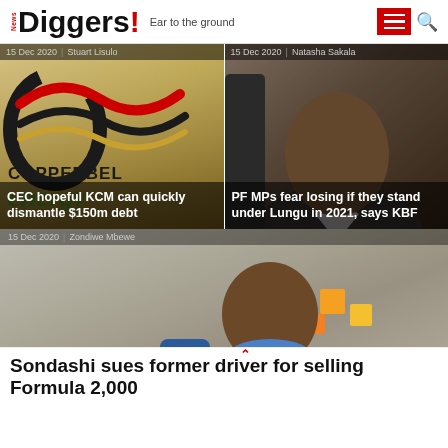News Diggers! Ear to the ground
[Figure (photo): Copperbelt Energy logo with text COPPERBELT energy on golden/brown background]
15 Dec 2020 | Stuart Lisulo
CEC hopeful KCM can quickly dismantle $150m debt
[Figure (photo): Portrait of a man in suit speaking]
15 Dec 2020 | Natasha Sakala
PF MPs fear losing if they stand under Lungu in 2021, says KBF
[Figure (photo): Elderly man in blue jacket holding a green bottle of pills]
15 Dec 2020 | Zondiwe Mbewe
Sondashi sues former driver for selling Formula 2,000